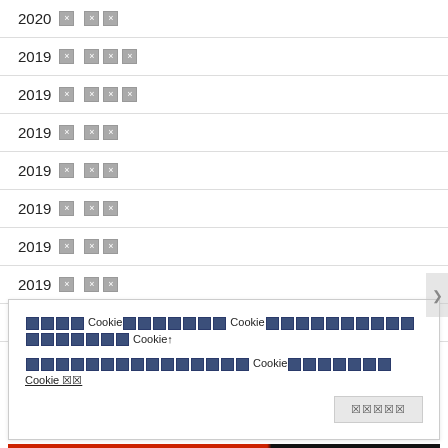2020 ☒ ☒☒
2019 ☒ ☒☒☒
2019 ☒ ☒☒☒
2019 ☒ ☒☒
2019 ☒ ☒☒
2019 ☒ ☒☒
2019 ☒ ☒☒
2019 ☒ ☒☒
2019 ☒ ☒☒
☒☒☒☒ Cookie☒☒☒☒☒☒☒ Cookie☒☒☒☒☒☒☒☒☒☒☒☒☒☒☒☒☒ Cookie↑ ☒☒☒☒☒☒☒☒☒☒☒☒☒☒☒ Cookie☒☒☒☒☒☒☒ Cookie ☒☒